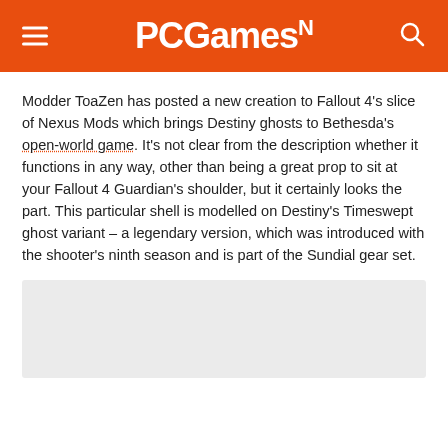PCGamesN
Modder ToaZen has posted a new creation to Fallout 4's slice of Nexus Mods which brings Destiny ghosts to Bethesda's open-world game. It's not clear from the description whether it functions in any way, other than being a great prop to sit at your Fallout 4 Guardian's shoulder, but it certainly looks the part. This particular shell is modelled on Destiny's Timeswept ghost variant – a legendary version, which was introduced with the shooter's ninth season and is part of the Sundial gear set.
[Figure (other): Light grey image placeholder rectangle]